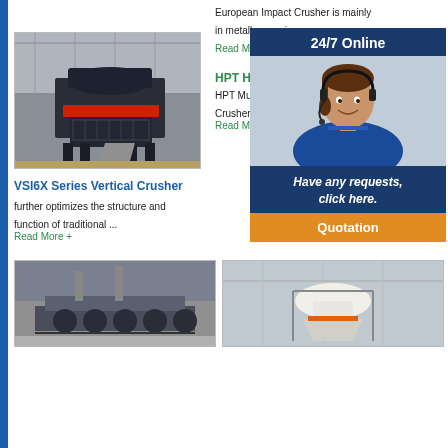European Impact Crusher is mainly in metallurgy, mine ...
Read More
[Figure (photo): VSI6X Series Vertical Crusher machine in industrial building]
[Figure (photo): 24/7 Online customer service representative with headset]
HPT Hydra...
HPT Multi- ... Crusher m...
Read More
VSI6X Series Vertical Crusher
further optimizes the structure and function of traditional ...
Read More +
[Figure (photo): Industrial machinery bottom left]
[Figure (photo): Industrial crusher cone bottom right]